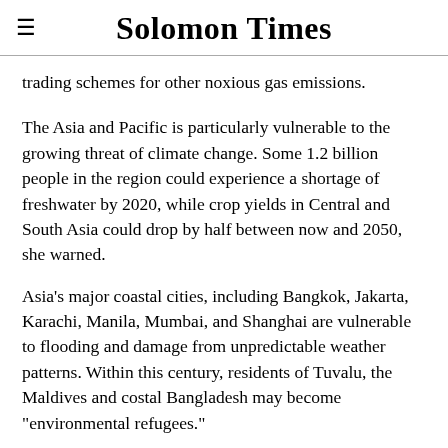Solomon Times
trading schemes for other noxious gas emissions.
The Asia and Pacific is particularly vulnerable to the growing threat of climate change. Some 1.2 billion people in the region could experience a shortage of freshwater by 2020, while crop yields in Central and South Asia could drop by half between now and 2050, she warned.
Asia's major coastal cities, including Bangkok, Jakarta, Karachi, Manila, Mumbai, and Shanghai are vulnerable to flooding and damage from unpredictable weather patterns. Within this century, residents of Tuvalu, the Maldives and costal Bangladesh may become "environmental refugees."
"The poorest people in the region will suffer first and most. Unless actions are taken now, any progress